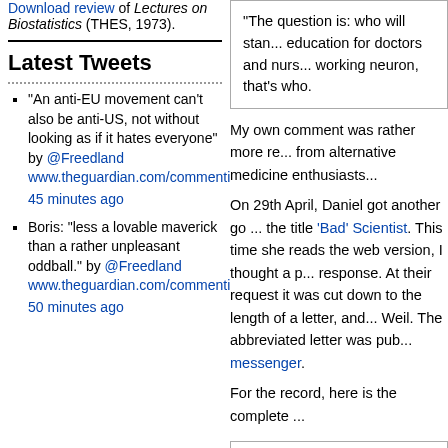Download review of Lectures on Biostatistics (THES, 1973).
Latest Tweets
"An anti-EU movement can't also be anti-US, not without looking as if it hates everyone" by @Freedland www.theguardian.com/commentisf... 45 minutes ago
Boris: "less a lovable maverick than a rather unpleasant oddball." by @Freedland www.theguardian.com/commentisf... 50 minutes ago
“The question is: who will stand up for education for doctors and nurses... working neuron, that’s who.
My own comment was rather more re... from alternative medicine enthusiasts...
On 29th April, Daniel got another go ... the title ‘Bad’ Scientist. This time she reads the web version, I thought a p... response. At their request it was cut down to the length of a letter, and... Weil. The abbreviated letter was pub... messenger.
For the record, here is the complete ...
In response to your report [It's term... blog Dr Daniel, in her two recent c... just begun, and ‘Bad’ Scientist], Dr... intimidatory, undemocratic, antiso...
I can understand that she may wel...